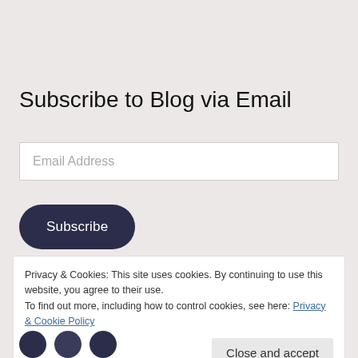Subscribe to Blog via Email
Email Address
Subscribe
Privacy & Cookies: This site uses cookies. By continuing to use this website, you agree to their use.
To find out more, including how to control cookies, see here: Privacy & Cookie Policy
Close and accept